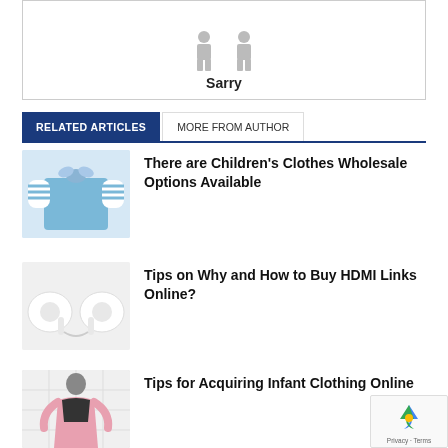[Figure (illustration): Two grey silhouette person figures side by side with label 'Sarry' below]
RELATED ARTICLES | MORE FROM AUTHOR
[Figure (photo): Children's blue striped shirt/clothing item]
There are Children's Clothes Wholesale Options Available
[Figure (photo): White wireless earbuds/earphones]
Tips on Why and How to Buy HDMI Links Online?
[Figure (photo): Woman in pink clothing standing against grid background]
Tips for Acquiring Infant Clothing Online